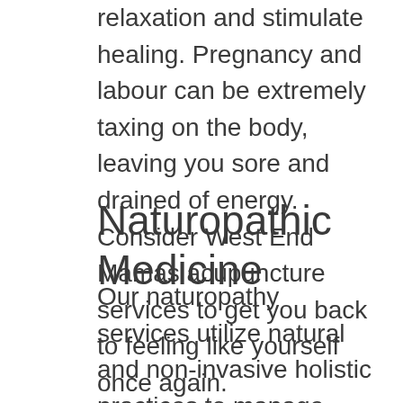relaxation and stimulate healing. Pregnancy and labour can be extremely taxing on the body, leaving you sore and drained of energy. Consider West End Mamas acupuncture services to get you back to feeling like yourself once again.
Naturopathic Medicine
Our naturopathy services utilize natural and non-invasive holistic practices to manage your health. One of our expert naturopaths will gladly sit down with you to discuss your various health concerns and overall goals, before developing a